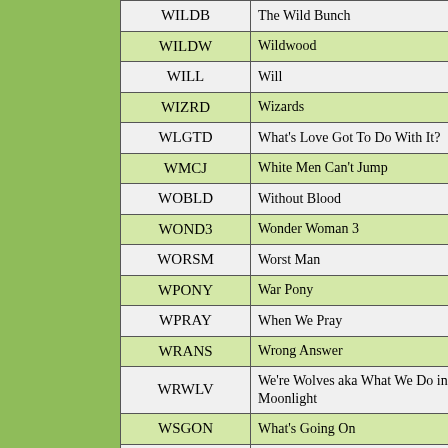| Code | Title |
| --- | --- |
| WILDB | The Wild Bunch |
| WILDW | Wildwood |
| WILL | Will |
| WIZRD | Wizards |
| WLGTD | What's Love Got To Do With It? |
| WMCJ | White Men Can't Jump |
| WOBLD | Without Blood |
| WOND3 | Wonder Woman 3 |
| WORSM | Worst Man |
| WPONY | War Pony |
| WPRAY | When We Pray |
| WRANS | Wrong Answer |
| WRWLV | We're Wolves aka What We Do in the Moonlight |
| WSGON | What's Going On |
| WYFSW | When You Finish Saving the World |
| XPATR | Expatriate |
| XPND4 | Expend4bles aka The Expendables 4 |